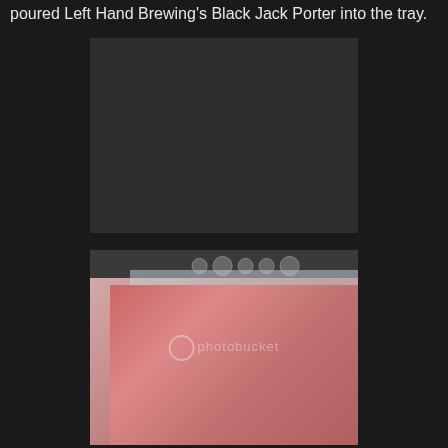poured Left Hand Brewing's Black Jack Porter into the tray.
[Figure (photo): Dark/black image placeholder rectangle]
[Figure (photo): Photo of a dark beer bottle being poured into a tray containing raw meat (ribs), with a small kitchen appliance visible in the background. A photobucket watermark is visible on the image.]